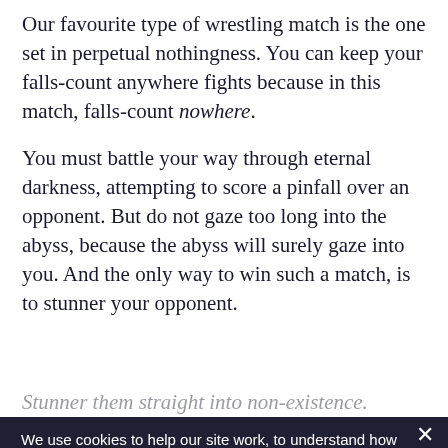Our favourite type of wrestling match is the one set in perpetual nothingness. You can keep your falls-count anywhere fights because in this match, falls-count nowhere.
You must battle your way through eternal darkness, attempting to score a pinfall over an opponent. But do not gaze too long into the abyss, because the abyss will surely gaze into you. And the only way to win such a match, is to stunner your opponent.
Stunner them straight into non-existence.
120 bucks well spent
@newbalonce
pic.twitter.com/RRDt6
We use cookies to help our site work, to understand how it is used. By clicking "I Agree" below, you agree to us doing so. You can read more in our cookie notice. Or, if you do not agree, you can click "Privacy Preferences" below to access other choices.
Privacy Preferences